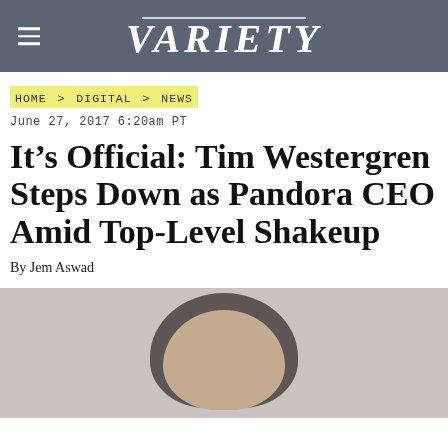VARIETY
HOME > DIGITAL > NEWS
June 27, 2017 6:20am PT
It’s Official: Tim Westergren Steps Down as Pandora CEO Amid Top-Level Shakeup
By Jem Aswad
[Figure (photo): Partial head photograph of Tim Westergren, cropped at bottom of page]